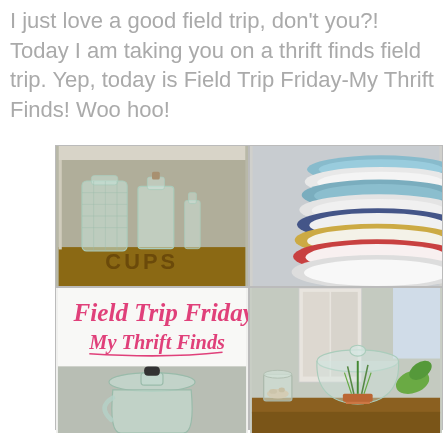I just love a good field trip, don't you?!  Today I am taking you on a thrift finds field trip.  Yep, today is Field Trip Friday-My Thrift Finds!  Woo hoo!
[Figure (photo): A 2x2 collage of thrift store find photos: top-left shows glass bottles on a wooden crate, top-right shows a stack of mismatched china plates, bottom-left shows a handwritten-style title card reading 'Field Trip Friday My Thrift Finds' in pink cursive on white background and a close-up of a glass jug bottle, bottom-right shows a glass cloche/bell jar with a small plant in a terra cotta pot and other jars on a wooden surface.]